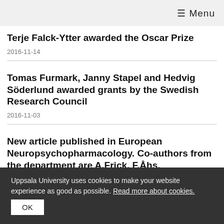≡ Menu
Terje Falck-Ytter awarded the Oscar Prize
2016-11-14
Tomas Furmark, Janny Stapel and Hedvig Söderlund awarded grants by the Swedish Research Council
2016-11-03
New article published in European Neuropsychopharmacology. Co-authors from the department are A.Frick, F.Åhs, M.Fredrikson
Uppsala University uses cookies to make your website experience as good as possible. Read more about cookies.